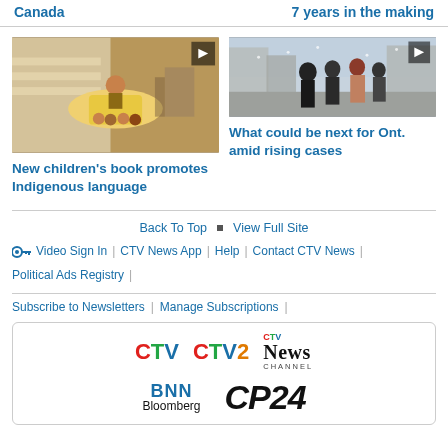Canada
7 years in the making
[Figure (photo): Children's book with Indigenous art displayed on a table]
New children's book promotes Indigenous language
[Figure (photo): People walking on a snowy city street in winter]
What could be next for Ont. amid rising cases
Back To Top
View Full Site
Video Sign In | CTV News App | Help | Contact CTV News | Political Ads Registry |
Subscribe to Newsletters | Manage Subscriptions |
[Figure (logo): CTV, CTV2, CTV News Channel, BNN Bloomberg, CP24 logos]